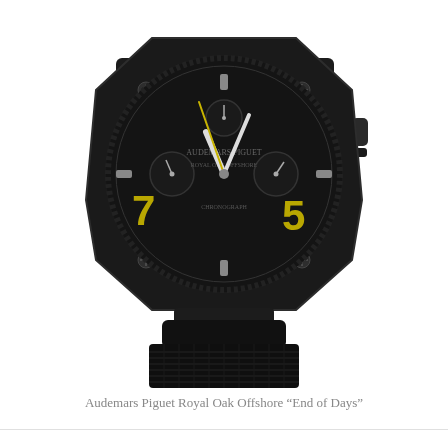[Figure (photo): Audemars Piguet Royal Oak Offshore 'End of Days' luxury watch with black ceramic case, black textured rubber/fabric strap, and yellow gold numerals on dark dial, photographed from a front-upper angle.]
Audemars Piguet Royal Oak Offshore “End of Days”